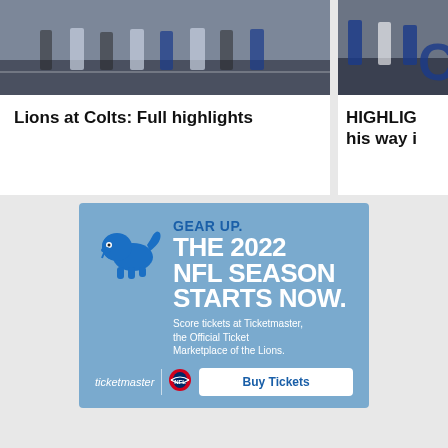[Figure (photo): NFL players lined up at scrimmage, Lions at Colts game]
Lions at Colts: Full highlights
[Figure (photo): NFL game highlight photo, partial view]
HIGHLIGHTS his way in
[Figure (infographic): Detroit Lions / Ticketmaster advertisement: GEAR UP. THE 2022 NFL SEASON STARTS NOW. Score tickets at Ticketmaster, the Official Ticket Marketplace of the Lions. Buy Tickets button.]